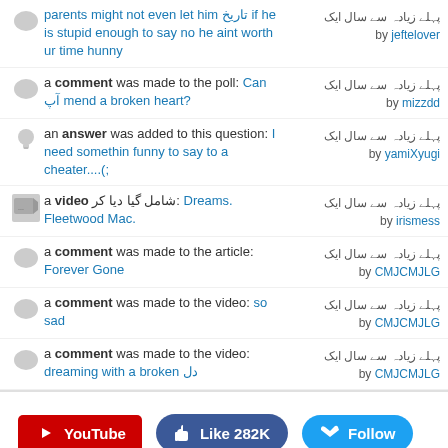parents might not even let him تاریخ if he is stupid enough to say no he aint worth ur time hunny — پہلے زیادہ سے سال ایک by jeftelover
a comment was made to the poll: Can آپ mend a broken heart? — پہلے زیادہ سے سال ایک by mizzdd
an answer was added to this question: I need somethin funny to say to a cheater....(; — پہلے زیادہ سے سال ایک by yamiXyugi
a video شامل گیا دیا کر: Dreams. Fleetwood Mac. — پہلے زیادہ سے سال ایک by irismess
a comment was made to the article: Forever Gone — پہلے زیادہ سے سال ایک by CMJCMJLG
a comment was made to the video: so sad — پہلے زیادہ سے سال ایک by CMJCMJLG
a comment was made to the video: dreaming with a broken دل — پہلے زیادہ سے سال ایک by CMJCMJLG
YouTube  Like 282K  Follow